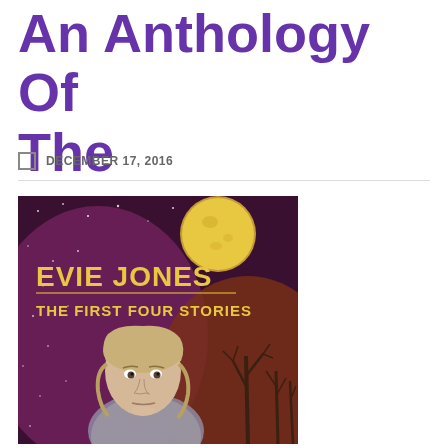An Anthology Of The
DECEMBER 17, 2016
[Figure (illustration): Book cover for 'Evie Jones: The First Four Stories' showing a young blonde woman against a dark purple starry night sky with a large yellow moon and bare trees. Text reads 'EVIE JONES THE FIRST FOUR STORIES' in yellow/gold lettering.]